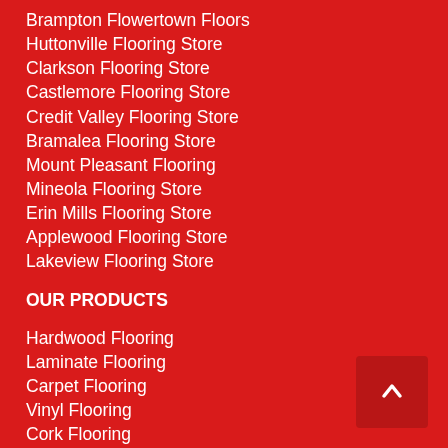Brampton Flowertown Floors
Huttonville Flooring Store
Clarkson Flooring Store
Castlemore Flooring Store
Credit Valley Flooring Store
Bramalea Flooring Store
Mount Pleasant Flooring
Mineola Flooring Store
Erin Mills Flooring Store
Applewood Flooring Store
Lakeview Flooring Store
OUR PRODUCTS
Hardwood Flooring
Laminate Flooring
Carpet Flooring
Vinyl Flooring
Cork Flooring